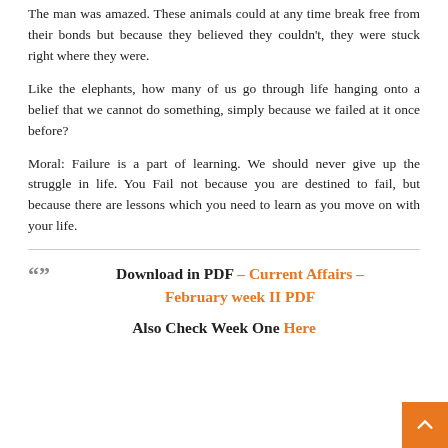The man was amazed. These animals could at any time break free from their bonds but because they believed they couldn't, they were stuck right where they were.
Like the elephants, how many of us go through life hanging onto a belief that we cannot do something, simply because we failed at it once before?
Moral: Failure is a part of learning. We should never give up the struggle in life. You Fail not because you are destined to fail, but because there are lessons which you need to learn as you move on with your life.
Download in PDF – Current Affairs – February week II PDF
Also Check Week One Here